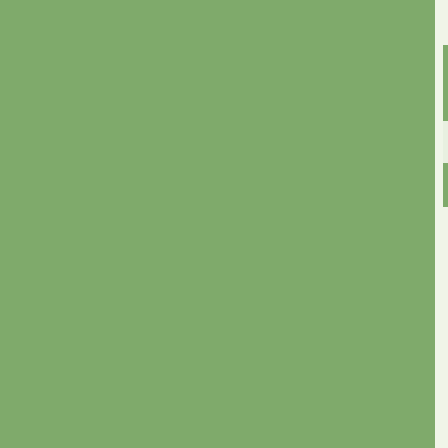Haupiri blue (12) *
russell | (237)
| Countries | Photos |  |
| --- | --- | --- |
| New Zealand | 33 | [view photos] [view map] |
| All Countries | 33 | [view photos] |
[Figure (map): Map showing North America region in light yellow on blue ocean background]
Copyright © 2018 MH Sub I, LLC dba Internet Bran... the Terms of Use. | Priv...